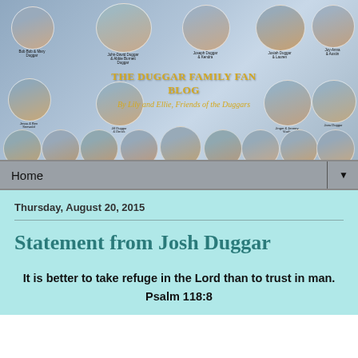[Figure (photo): The Duggar Family Fan Blog banner with multiple family portrait photos arranged in three rows against a blue-gray background, with blog title in gold text]
Home ▼
Thursday, August 20, 2015
Statement from Josh Duggar
It is better to take refuge in the Lord than to trust in man.
Psalm 118:8